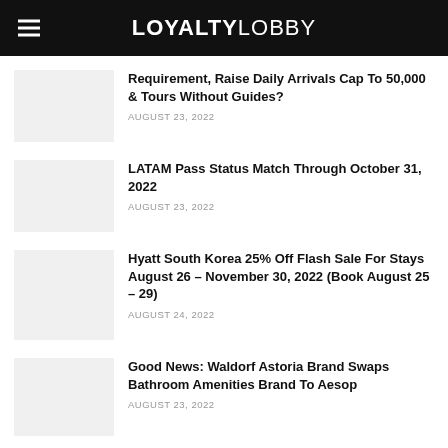LOYALTYLOBBY
Requirement, Raise Daily Arrivals Cap To 50,000 & Tours Without Guides? — AUGUST 23, 2022
LATAM Pass Status Match Through October 31, 2022 — AUGUST 23, 2022
Hyatt South Korea 25% Off Flash Sale For Stays August 26 – November 30, 2022 (Book August 25 – 29) — AUGUST 24, 2022
Good News: Waldorf Astoria Brand Swaps Bathroom Amenities Brand To Aesop — AUGUST 23, 2022